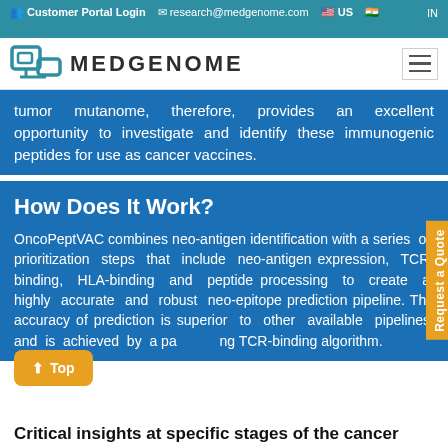Customer Portal Login   research@medgenome.com   US   IN
[Figure (logo): MedGenome logo with icon and hamburger menu]
tumor mutanome, therefore, provides an excellent opportunity to investigate and identify these immunogenic peptides for use as cancer vaccines.
How Does It Work?
OncoPeptVAC combines neo-antigen identification with a series of prioritization steps that include neo-antigen expression, TCR-binding, HLA-binding and peptide processing to create a highly accurate and robust neo-epitope prediction pipeline. The accuracy of prediction is superior to other available pipelines and is achieved by a patented TCR-binding algorithm.
Critical insights at specific stages of the cancer